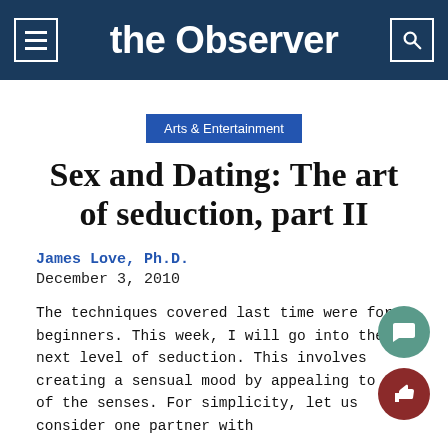the Observer
Arts & Entertainment
Sex and Dating: The art of seduction, part II
James Love, Ph.D.
December 3, 2010
The techniques covered last time were for beginners. This week, I will go into the next level of seduction. This involves creating a sensual mood by appealing to all of the senses. For simplicity, let us consider one partner with